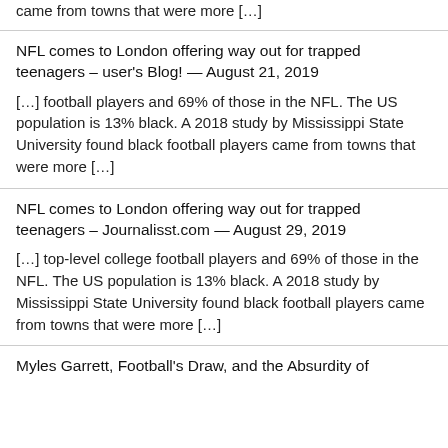came from towns that were more […]
NFL comes to London offering way out for trapped teenagers – user's Blog! — August 21, 2019
[…] football players and 69% of those in the NFL. The US population is 13% black. A 2018 study by Mississippi State University found black football players came from towns that were more […]
NFL comes to London offering way out for trapped teenagers – Journalisst.com — August 29, 2019
[…] top-level college football players and 69% of those in the NFL. The US population is 13% black. A 2018 study by Mississippi State University found black football players came from towns that were more […]
Myles Garrett, Football's Draw, and the Absurdity of